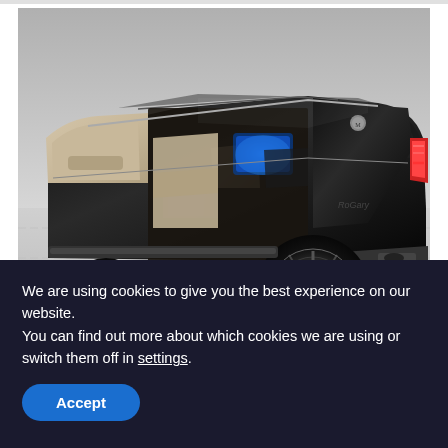[Figure (photo): A black luxury SUV (Mercedes-Maybach GLS) with doors open showing beige and purple interior, parked in a studio setting with light grey tiled floor.]
All-New Luxury SUVs (Take A Look At The Prices)
We are using cookies to give you the best experience on our website.
You can find out more about which cookies we are using or switch them off in settings.
Accept